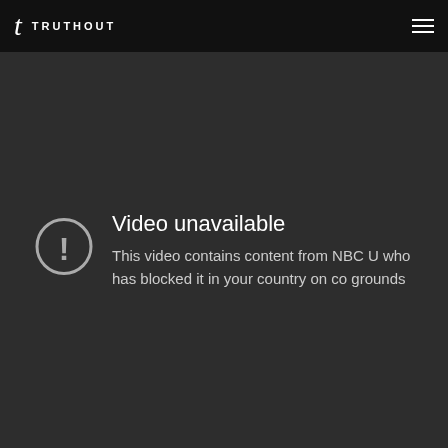t TRUTHOUT
[Figure (screenshot): Video unavailable error message on dark background. Shows a circle with exclamation mark icon and text: 'Video unavailable. This video contains content from NBC U who has blocked it in your country on co grounds']